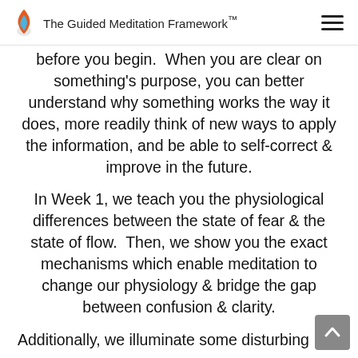The Guided Meditation Framework™
before you begin.  When you are clear on something's purpose, you can better understand why something works the way it does, more readily think of new ways to apply the information, and be able to self-correct & improve in the future.
In Week 1, we teach you the physiological differences between the state of fear & the state of flow.  Then, we show you the exact mechanisms which enable meditation to change our physiology & bridge the gap between confusion & clarity.
Additionally, we illuminate some disturbing